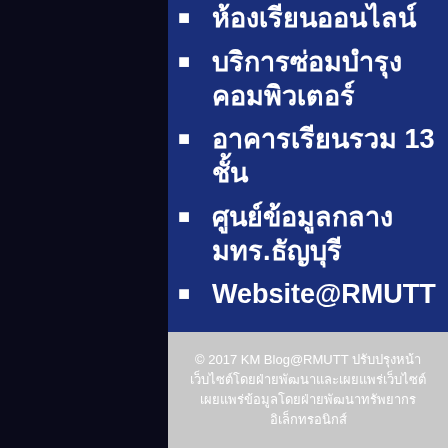ห้องเรียนออนไลน์
บริการซ่อมบำรุงคอมพิวเตอร์
อาคารเรียนรวม 13 ชั้น
ศูนย์ข้อมูลกลางมทร.ธัญบุรี
Website@RMUTT
© 2017 KM Blog@RMUTT ปรับปรุงหน้าเว็บไซต์โดยฝ่ายพัฒนาและเผยแพร่เว็บไซต์ เผยแพร่ข้อมูลโดยฝ่ายพัฒนาทรัพยากรอิเล็กทรอนิกส์